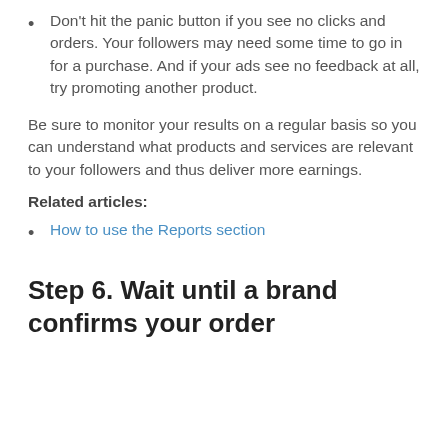Don't hit the panic button if you see no clicks and orders. Your followers may need some time to go in for a purchase. And if your ads see no feedback at all, try promoting another product.
Be sure to monitor your results on a regular basis so you can understand what products and services are relevant to your followers and thus deliver more earnings.
Related articles:
How to use the Reports section
Step 6. Wait until a brand confirms your order